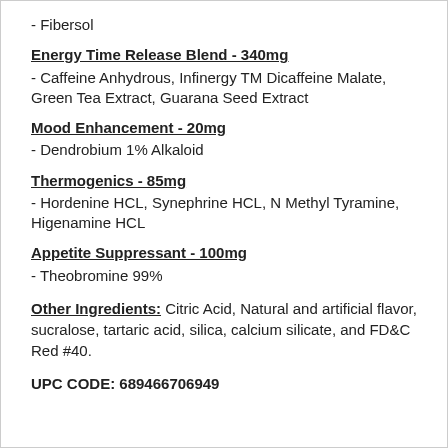- Fibersol
Energy Time Release Blend - 340mg
- Caffeine Anhydrous, Infinergy TM Dicaffeine Malate, Green Tea Extract, Guarana Seed Extract
Mood Enhancement - 20mg
- Dendrobium 1% Alkaloid
Thermogenics - 85mg
- Hordenine HCL, Synephrine HCL, N Methyl Tyramine, Higenamine HCL
Appetite Suppressant - 100mg
- Theobromine 99%
Other Ingredients: Citric Acid, Natural and artificial flavor, sucralose, tartaric acid, silica, calcium silicate, and FD&C Red #40.
UPC CODE: 689466706949